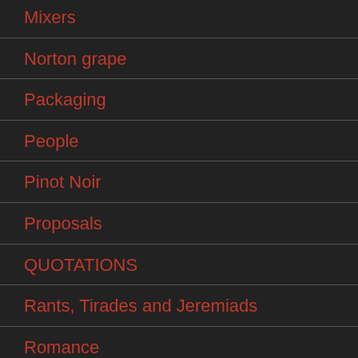Mixers
Norton grape
Packaging
People
Pinot Noir
Proposals
QUOTATIONS
Rants, Tirades and Jeremiads
Romance
Sales
Salutes